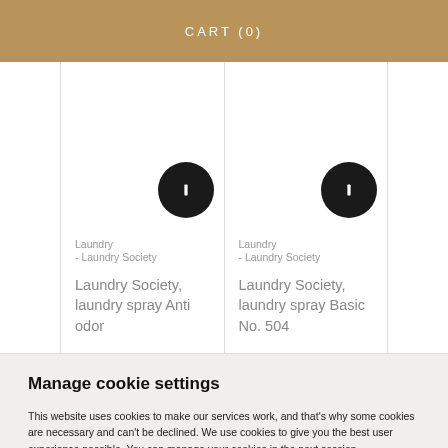CART (0)
[Figure (other): Product card with black circle icon button, showing Laundry - Laundry Society category and product name: Laundry Society, laundry spray Anti odor]
[Figure (other): Product card with black circle icon button, showing Laundry - Laundry Society category and product name: Laundry Society, laundry spray Basic No. 504]
Manage cookie settings
This website uses cookies to make our services work, and that’s why some cookies are necessary and can’t be declined. We use cookies to give you the best user experience possible. You can manage your cookies in the next session.
Allow all cookies
Cookie settings